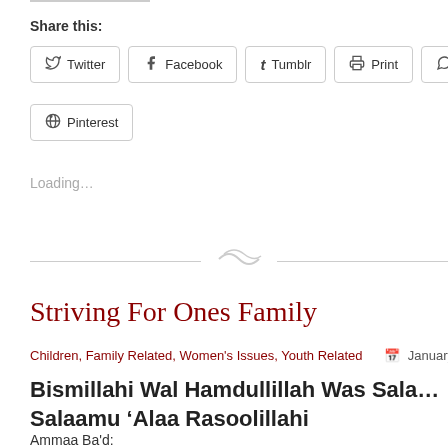Share this:
Twitter
Facebook
Tumblr
Print
WhatsApp
Pinterest
Loading...
Striving For Ones Family
Children, Family Related, Women's Issues, Youth Related   January 2,
Bismillahi Wal Hamdullillah Was Salaamu ‘Alaa Rasoolillahi
Ammaa Ba'd: